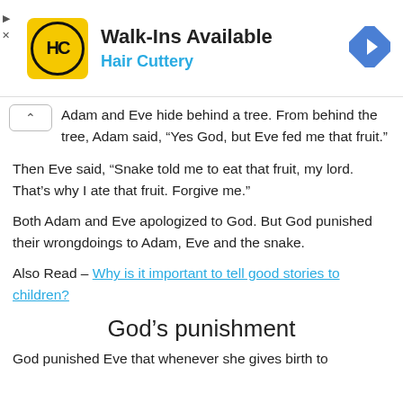[Figure (infographic): Advertisement banner for Hair Cuttery showing logo and 'Walk-Ins Available' text with navigation icon]
Adam and Eve hide behind a tree. From behind the tree, Adam said, “Yes God, but Eve fed me that fruit.”
Then Eve said, “Snake told me to eat that fruit, my lord. That’s why I ate that fruit. Forgive me.”
Both Adam and Eve apologized to God. But God punished their wrongdoings to Adam, Eve and the snake.
Also Read – Why is it important to tell good stories to children?
God’s punishment
God punished Eve that whenever she gives birth to